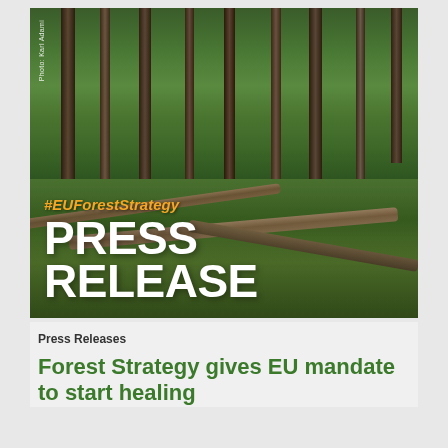[Figure (photo): Forest photo showing tall trees with green undergrowth, fallen logs on mossy forest floor. Overlaid text reads '#EUForestStrategy' in orange italic and 'PRESS RELEASE' in large white bold letters. Photo credit: Karl Adami.]
Photo: Karl Adami
Press Releases
Forest Strategy gives EU mandate to start healing